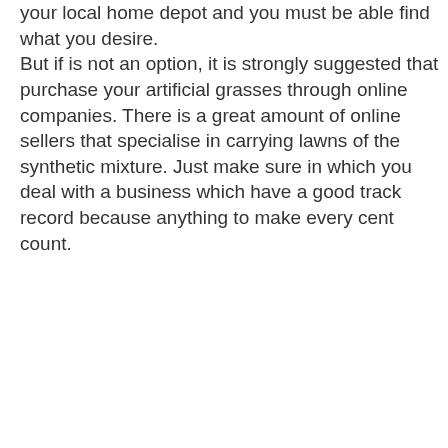your local home depot and you must be able find what you desire. But if is not an option, it is strongly suggested that purchase your artificial grasses through online companies. There is a great amount of online sellers that specialise in carrying lawns of the synthetic mixture. Just make sure in which you deal with a business which have a good track record because anything to make every cent count.